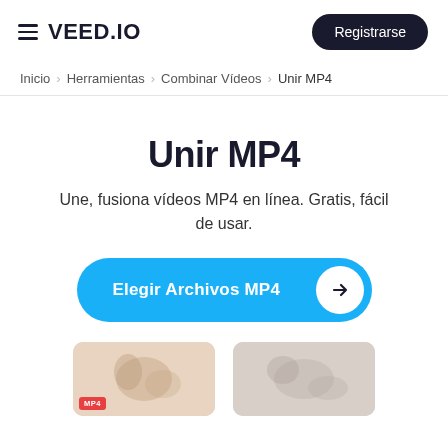VEED.IO | Registrarse
Inicio > Herramientas > Combinar Vídeos > Unir MP4
Unir MP4
Une, fusiona vídeos MP4 en línea. Gratis, fácil de usar.
[Figure (screenshot): Blue rounded call-to-action button reading 'Elegir Archivos MP4' with white arrow circle on right]
[Figure (screenshot): Two partially visible video thumbnails at bottom of page with MP4 badge on left thumbnail]